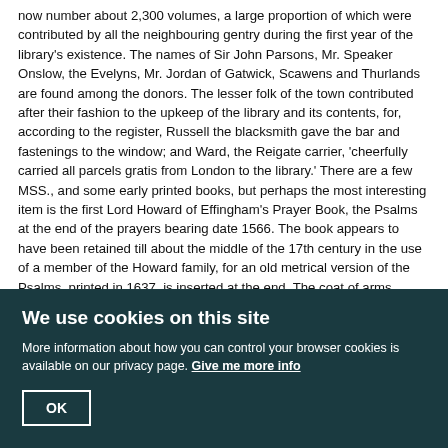now number about 2,300 volumes, a large proportion of which were contributed by all the neighbouring gentry during the first year of the library's existence. The names of Sir John Parsons, Mr. Speaker Onslow, the Evelyns, Mr. Jordan of Gatwick, Scawens and Thurlands are found among the donors. The lesser folk of the town contributed after their fashion to the upkeep of the library and its contents, for, according to the register, Russell the blacksmith gave the bar and fastenings to the window; and Ward, the Reigate carrier, 'cheerfully carried all parcels gratis from London to the library.' There are a few MSS., and some early printed books, but perhaps the most interesting item is the first Lord Howard of Effingham's Prayer Book, the Psalms at the end of the prayers bearing date 1566. The book appears to have been retained till about the middle of the 17th century in the use of a member of the Howard family, for an old metrical version of the Psalms, printed in 1637, is inserted at the end. The coat of arms impressed on the original covers is that of the Howard family, quartering Brotherton, Warren, and Bigod; the initials W.H., the encircling garter, and the old Howard motto, Sola Virtus invicta, indicate the first possessor of the book. The volumes are chiefly standard theology of the 17th and 18th centuries including such controversial works as Bugg's Quakerism Drooping; but also including history, classical authors, travels and literature in general. There are a few curious MSS., such as Stephen Birchington's
We use cookies on this site
More information about how you can control your browser cookies is available on our privacy page. Give me more info
OK